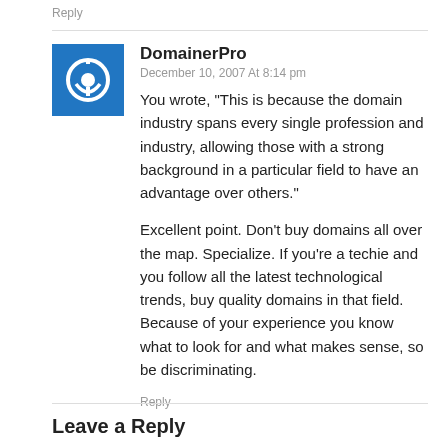Reply
DomainerPro
December 10, 2007 At 8:14 pm
You wrote, "This is because the domain industry spans every single profession and industry, allowing those with a strong background in a particular field to have an advantage over others."

Excellent point. Don't buy domains all over the map. Specialize. If you're a techie and you follow all the latest technological trends, buy quality domains in that field. Because of your experience you know what to look for and what makes sense, so be discriminating.
Reply
Leave a Reply